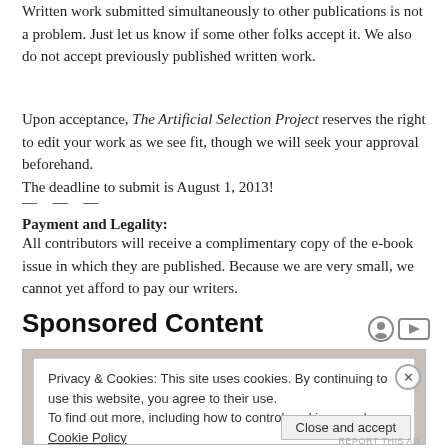Written work submitted simultaneously to other publications is not a problem. Just let us know if some other folks accept it. We also do not accept previously published written work.
Upon acceptance, The Artificial Selection Project reserves the right to edit your work as we see fit, though we will seek your approval beforehand.
The deadline to submit is August 1, 2013!
— — —
Payment and Legality:
All contributors will receive a complimentary copy of the e-book issue in which they are published. Because we are very small, we cannot yet afford to pay our writers.
Sponsored Content
[Figure (screenshot): Cookie consent banner overlay on a sponsored content advertisement image. Banner reads: 'Privacy & Cookies: This site uses cookies. By continuing to use this website, you agree to their use. To find out more, including how to control cookies, see here: Cookie Policy' with a 'Close and accept' button.]